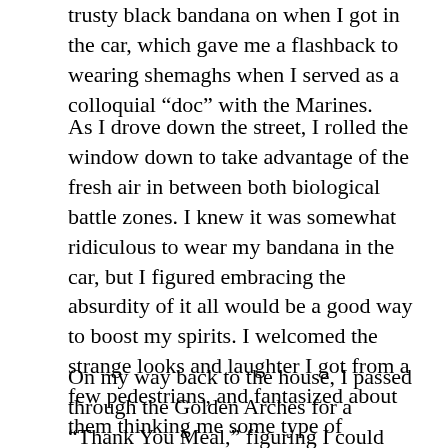trusty black bandana on when I got in the car, which gave me a flashback to wearing shemaghs when I served as a colloquial "doc" with the Marines.
As I drove down the street, I rolled the window down to take advantage of the fresh air in between both biological battle zones. I knew it was somewhat ridiculous to wear my bandana in the car, but I figured embracing the absurdity of it all would be a good way to boost my spirits. I welcomed the strange looks and laughter I got from a few pedestrians, and fantasized about them thinking me some type of guerrilla health care gangster, ready to rob the world of COVID-19 and scrub it from existence.
On my way back to the house, I passed through the Golden Arches for a “Thank You Meal,” figuring I could use what was basically a literal bite to eat before carrying on with our recovering clients.